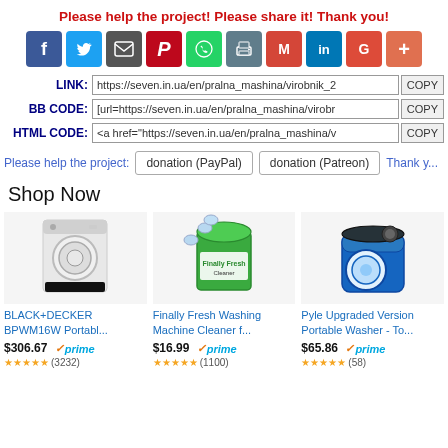Please help the project! Please share it! Thank you!
[Figure (infographic): Row of social media sharing icons: Facebook, Twitter, Email, Pinterest, WhatsApp, Print, Gmail, LinkedIn, Google+, More]
LINK: https://seven.in.ua/en/pralna_mashina/virobnik_2   COPY
BB CODE: [url=https://seven.in.ua/en/pralna_mashina/virobr   COPY
HTML CODE: <a href="https://seven.in.ua/en/pralna_mashina/v   COPY
Please help the project:  donation (PayPal)  donation (Patreon)  Thank y...
Shop Now
[Figure (photo): BLACK+DECKER BPWM16W portable washing machine, white top-load]
BLACK+DECKER BPWM16W Portabl...
$306.67 ✓prime
[Figure (photo): Finally Fresh Washing Machine Cleaner tablets container]
Finally Fresh Washing Machine Cleaner f...
$16.99 ✓prime
[Figure (photo): Pyle Upgraded Version Portable Washer, blue mini washing machine]
Pyle Upgraded Version Portable Washer - To...
$65.86 ✓prime